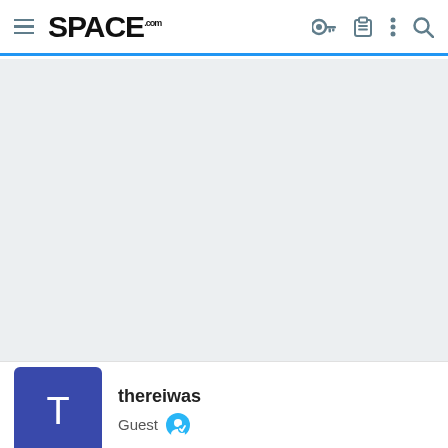SPACE.com navigation bar
[Figure (screenshot): Empty light gray content area below navigation]
thereiwas
Guest